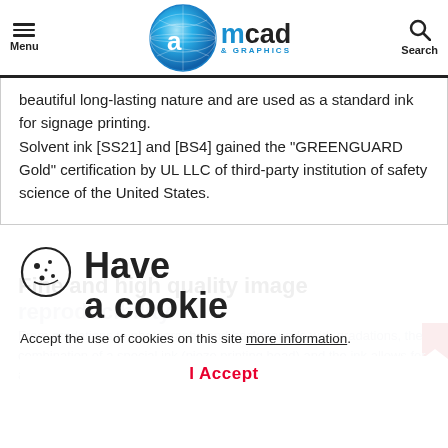Menu | amcad & GRAPHICS | Search
beautiful long-lasting nature and are used as a standard ink for signage printing. Solvent ink [SS21] and [BS4] gained the "GREENGUARD Gold" certification by UL LLC of third-party institution of safety science of the United States.
Fine and high quality image reproducibility
From gradations to photographs and backgrounds with gradations, the combination of a special ink (piezo printing head) and the ink allows for all sorts of print jobs...
Have a cookie Accept the use of cookies on this site more information I Accept